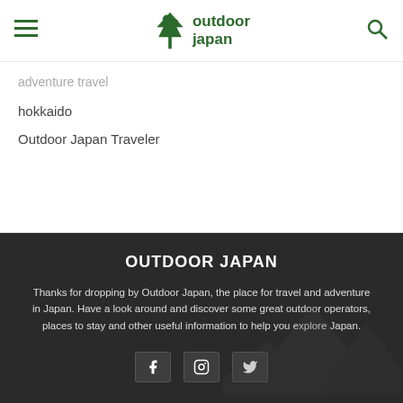outdoor japan
adventure travel
hokkaido
Outdoor Japan Traveler
OUTDOOR JAPAN
Thanks for dropping by Outdoor Japan, the place for travel and adventure in Japan. Have a look around and discover some great outdoor operators, places to stay and other useful information to help you explore Japan.